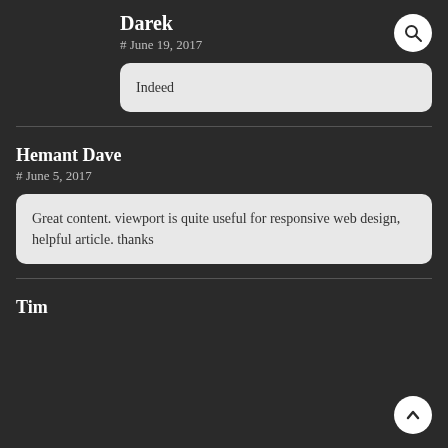Darek
# June 19, 2017
Indeed
Hemant Dave
# June 5, 2017
Great content. viewport is quite useful for responsive web design, helpful article. thanks
Tim